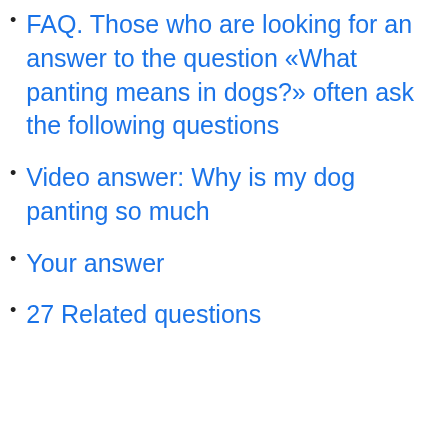FAQ. Those who are looking for an answer to the question «What panting means in dogs?» often ask the following questions
Video answer: Why is my dog panting so much
Your answer
27 Related questions